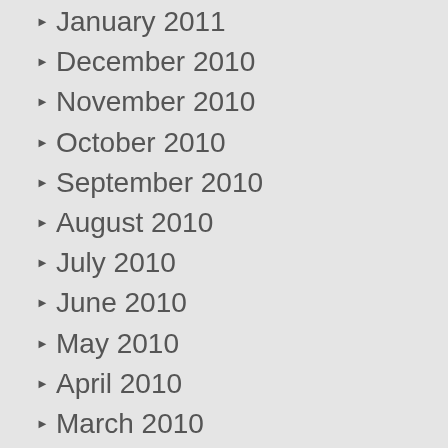January 2011
December 2010
November 2010
October 2010
September 2010
August 2010
July 2010
June 2010
May 2010
April 2010
March 2010
February 2010
January 2010